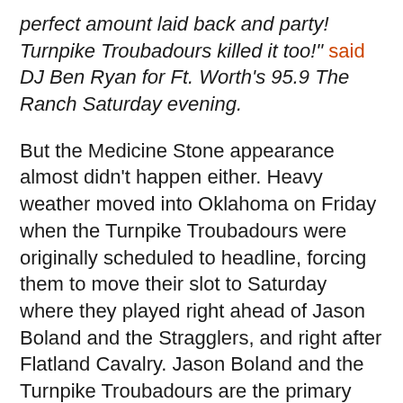perfect amount laid back and party! Turnpike Troubadours killed it too!" said DJ Ben Ryan for Ft. Worth's 95.9 The Ranch Saturday evening.
But the Medicine Stone appearance almost didn't happen either. Heavy weather moved into Oklahoma on Friday when the Turnpike Troubadours were originally scheduled to headline, forcing them to move their slot to Saturday where they played right ahead of Jason Boland and the Stragglers, and right after Flatland Cavalry. Jason Boland and the Turnpike Troubadours are the primary hosts and organizers of Medicine Stone. The other Friday performances of the festival were forced inside due to the inclement weather, but no sets were canceled.